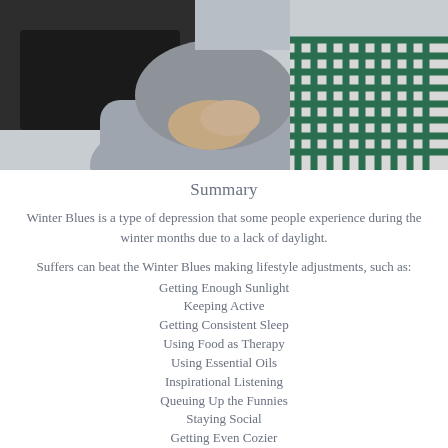[Figure (photo): A person sitting with legs crossed, wearing gray pants and a checkered plaid shirt, holding something with their hands, with a dark background behind them.]
Summary
Winter Blues is a type of depression that some people experience during the winter months due to a lack of daylight.
Suffers can beat the Winter Blues making lifestyle adjustments, such as:
Getting Enough Sunlight
Keeping Active
Getting Consistent Sleep
Using Food as Therapy
Using Essential Oils
Inspirational Listening
Queuing Up the Funnies
Staying Social
Getting Even Cozier
Letting In the Fresh Air